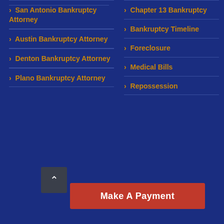San Antonio Bankruptcy Attorney
Austin Bankruptcy Attorney
Denton Bankruptcy Attorney
Plano Bankruptcy Attorney
Chapter 13 Bankruptcy
Bankruptcy Timeline
Foreclosure
Medical Bills
Repossession
Make A Payment